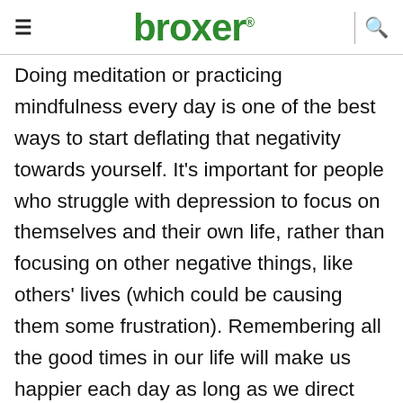broxer®
Doing meditation or practicing mindfulness every day is one of the best ways to start deflating that negativity towards yourself. It's important for people who struggle with depression to focus on themselves and their own life, rather than focusing on other negative things, like others' lives (which could be causing them some frustration). Remembering all the good times in our life will make us happier each day as long as we direct attention toward these positive